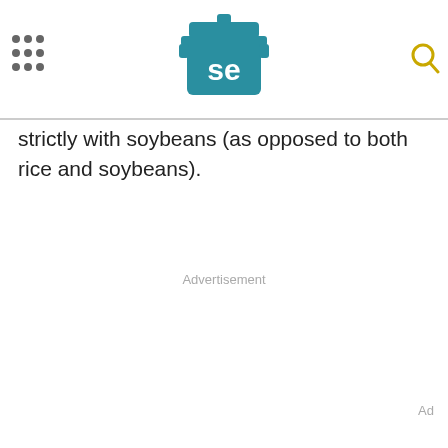Serious Eats logo with navigation icons
strictly with soybeans (as opposed to both rice and soybeans).
Advertisement
Ad